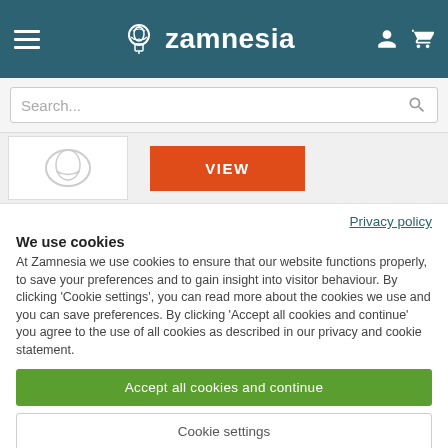Zamnesia
[Figure (screenshot): Search bar with placeholder text 'Search...' and a magnifying glass icon on the right]
[Figure (screenshot): Product image thumbnail on white background with a red VIEW button to the right]
Privacy policy
We use cookies
At Zamnesia we use cookies to ensure that our website functions properly, to save your preferences and to gain insight into visitor behaviour. By clicking 'Cookie settings', you can read more about the cookies we use and you can save preferences. By clicking 'Accept all cookies and continue' you agree to the use of all cookies as described in our privacy and cookie statement.
Accept all cookies and continue
Cookie settings